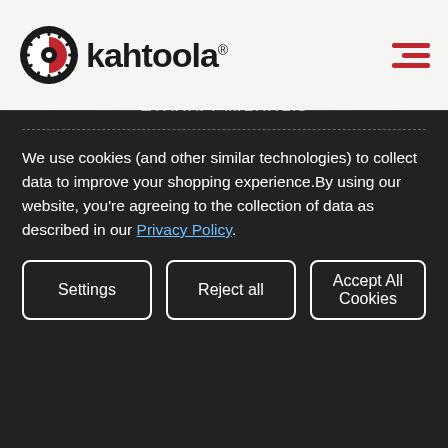[Figure (logo): Kahtoola logo with circular sun/gear icon in black and red, with bold text 'kahtoola' and registered trademark symbol]
Careers
Press + Media
Product Manuals
Pro Sales
Dealer Locator
We use cookies (and other similar technologies) to collect data to improve your shopping experience.By using our website, you're agreeing to the collection of data as described in our Privacy Policy.
Settings | Reject all | Accept All Cookies